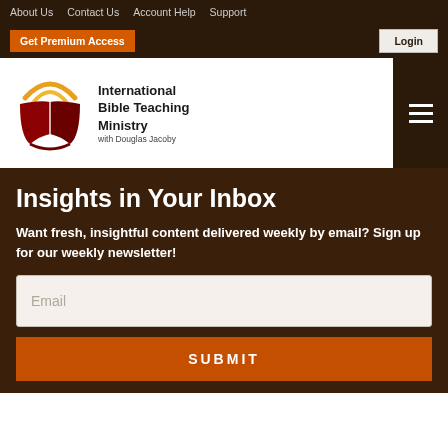About Us  Contact Us  Account Help  Support
Get Premium Access  Login
[Figure (logo): International Bible Teaching Ministry logo with open book and golden arc, with text 'International Bible Teaching Ministry with Douglas Jacoby']
Insights in Your Inbox
Want fresh, insightful content delivered weekly by email? Sign up for our weekly newsletter!
Email
SUBMIT